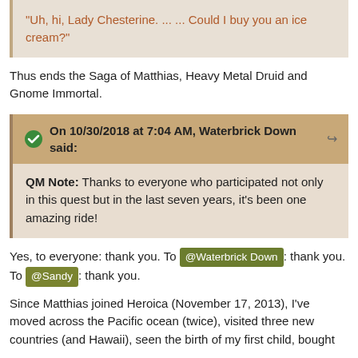"Uh, hi, Lady Chesterine. ... ... Could I buy you an ice cream?"
Thus ends the Saga of Matthias, Heavy Metal Druid and Gnome Immortal.
On 10/30/2018 at 7:04 AM, Waterbrick Down said:
QM Note:  Thanks to everyone who participated not only in this quest but in the last seven years, it's been one amazing ride!
Yes, to everyone: thank you. To @Waterbrick Down: thank you. To @Sandy: thank you.
Since Matthias joined Heroica (November 17, 2013), I've moved across the Pacific ocean (twice), visited three new countries (and Hawaii), seen the birth of my first child, bought